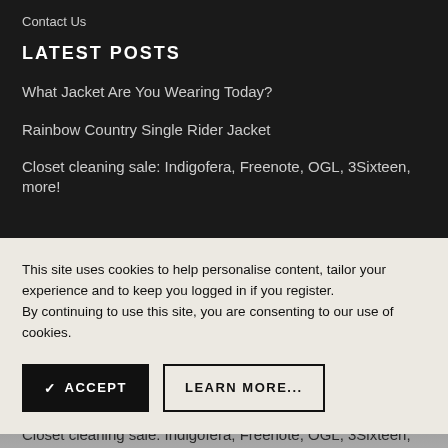Contact Us
LATEST POSTS
What Jacket Are You Wearing Today?
Rainbow Country Single Rider Jacket
Closet cleaning sale: Indigofera, Freenote, OGL, 3Sixteen, more!
This site uses cookies to help personalise content, tailor your experience and to keep you logged in if you register.
By continuing to use this site, you are consenting to our use of cookies.
✓ ACCEPT   LEARN MORE...
What Jacket Are You Wearing Today?
Rainbow Country Single Rider Jacket
Closet cleaning sale: Indigofera, Freenote, OGL, 3Sixteen,